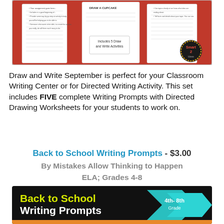[Figure (illustration): Draw and Write September worksheet pages spread on a red background with text 'Includes 5 Draw and Write Activities' and a Smart badge logo]
Draw and Write September is perfect for your Classroom Writing Center or for Directed Writing Activity. This set includes FIVE complete Writing Prompts with Directed Drawing Worksheets for your students to work on.
Back to School Writing Prompts - $3.00
By Mistakes Allow Thinking to Happen
ELA; Grades 4-8
[Figure (illustration): Back to School Writing Prompts banner for 4th-8th grade on a black background with yellow and white text and cyan arrow shapes]